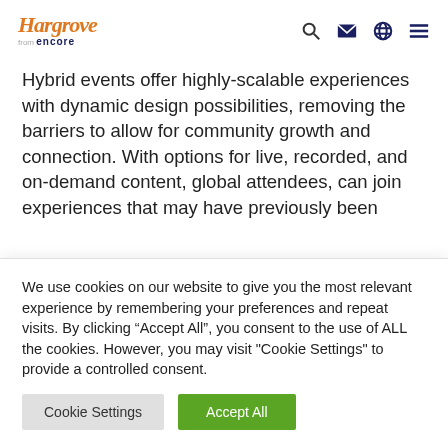Hargrove from encore [navigation icons: search, email, globe, menu]
Hybrid events offer highly-scalable experiences with dynamic design possibilities, removing the barriers to allow for community growth and connection. With options for live, recorded, and on-demand content, global attendees, can join experiences that may have previously been
We use cookies on our website to give you the most relevant experience by remembering your preferences and repeat visits. By clicking “Accept All”, you consent to the use of ALL the cookies. However, you may visit "Cookie Settings" to provide a controlled consent.
Cookie Settings
Accept All